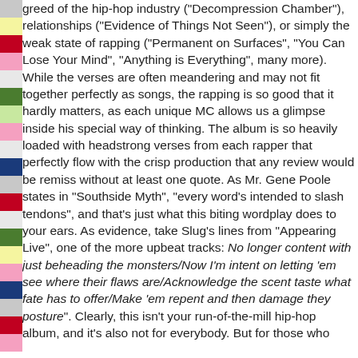greed of the hip-hop industry ("Decompression Chamber"), relationships ("Evidence of Things Not Seen"), or simply the weak state of rapping ("Permanent on Surfaces", "You Can Lose Your Mind", "Anything is Everything", many more). While the verses are often meandering and may not fit together perfectly as songs, the rapping is so good that it hardly matters, as each unique MC allows us a glimpse inside his special way of thinking. The album is so heavily loaded with headstrong verses from each rapper that perfectly flow with the crisp production that any review would be remiss without at least one quote. As Mr. Gene Poole states in "Southside Myth", "every word's intended to slash tendons", and that's just what this biting wordplay does to your ears. As evidence, take Slug's lines from "Appearing Live", one of the more upbeat tracks: No longer content with just beheading the monsters/Now I'm intent on letting 'em see where their flaws are/Acknowledge the scent taste what fate has to offer/Make 'em repent and then damage they posture". Clearly, this isn't your run-of-the-mill hip-hop album, and it's also not for everybody. But for those who